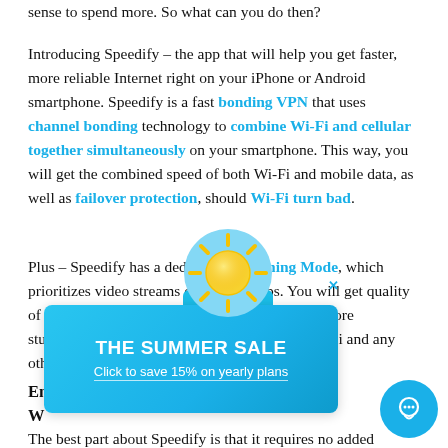sense to spend more. So what can you do then?
Introducing Speedify – the app that will help you get faster, more reliable Internet right on your iPhone or Android smartphone. Speedify is a fast bonding VPN that uses channel bonding technology to combine Wi-Fi and cellular together simultaneously on your smartphone. This way, you will get the combined speed of both Wi-Fi and mobile data, as well as failover protection, should Wi-Fi turn bad.
Plus – Speedify has a dedicated Streaming Mode, which prioritizes video streams over other apps. You will get quality of service for your Quibi streaming videos. No more stuttering or disconnecting videos on Quibi and any other streaming platform for that matter.
[Figure (infographic): Summer sale advertisement banner with sun icon overlay. Banner reads THE SUMMER SALE / Click to save 15% on yearly plans. Close (x) button top right. Blue gradient background.]
Enjoy Quibi Streaming Videos Without Interruptions
The best part about Speedify is that it requires no added